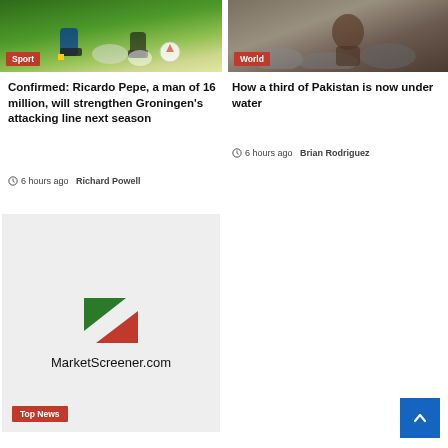[Figure (photo): Soccer/football players on a grass pitch, feet and ball visible]
Sport
[Figure (photo): A child and another person near rocks, news photo from Pakistan]
World
Confirmed: Ricardo Pepe, a man of 16 million, will strengthen Groningen's attacking line next season
6 hours ago  Richard Powell
How a third of Pakistan is now under water
6 hours ago  Brian Rodriguez
[Figure (logo): MarketScreener.com logo with green and red arrow shapes]
Top News